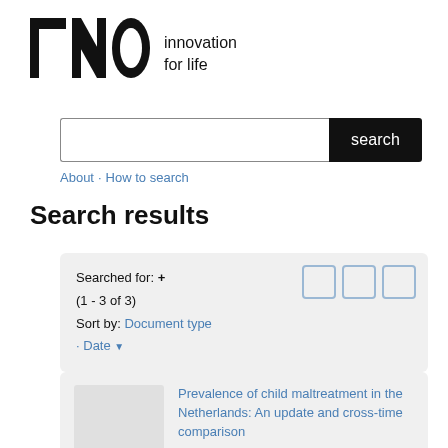[Figure (logo): TNO innovation for life logo — bold black TNO text with 'innovation for life' text to the right]
[Figure (screenshot): Search input field with 'search' button]
About · How to search
Search results
Searched for: +
(1 - 3 of 3)
Sort by: Document type
· Date
Prevalence of child maltreatment in the Netherlands: An update and cross-time comparison
van Berkel, S.R. (author), Prevoo, M.J.L. (author), Linting, M. (author), Pannebakker, F.D. (author),